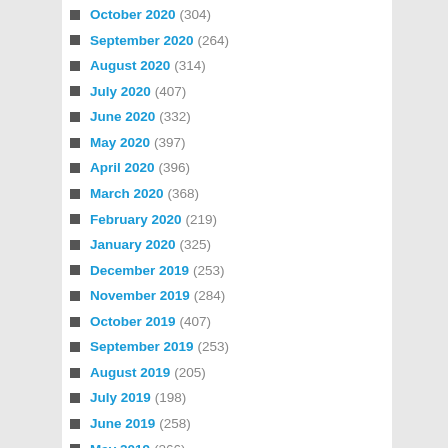October 2020 (304)
September 2020 (264)
August 2020 (314)
July 2020 (407)
June 2020 (332)
May 2020 (397)
April 2020 (396)
March 2020 (368)
February 2020 (219)
January 2020 (325)
December 2019 (253)
November 2019 (284)
October 2019 (407)
September 2019 (253)
August 2019 (205)
July 2019 (198)
June 2019 (258)
May 2019 (266)
April 2019 (204)
March 2019 (238)
February 2019 (243)
January 2019 (227)